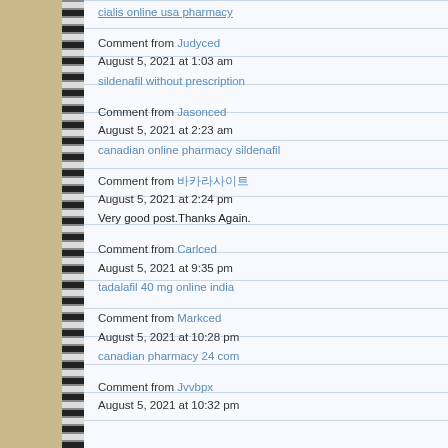cialis online usa pharmacy
Comment from Judyced
August 5, 2021 at 1:03 am
sildenafil without prescription
Comment from Jasonced
August 5, 2021 at 2:23 am
canadian online pharmacy sildenafil
Comment from 바카라사이트
August 5, 2021 at 2:24 pm
Very good post.Thanks Again.
Comment from Carlced
August 5, 2021 at 9:35 pm
tadalafil 40 mg online india
Comment from Markced
August 5, 2021 at 10:28 pm
canadian pharmacy 24 com
Comment from Jvvbpx
August 5, 2021 at 10:32 pm